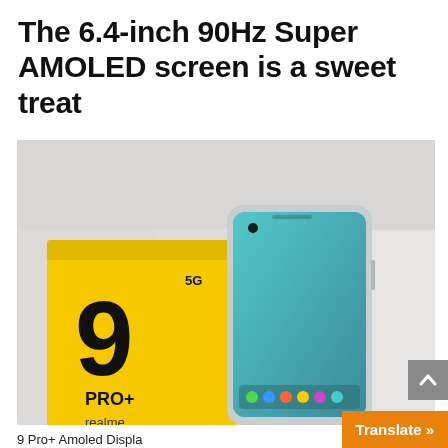The 6.4-inch 90Hz Super AMOLED screen is a sweet treat
[Figure (photo): Product photo of a Realme 9 Pro+ smartphone beside its yellow retail box, placed on a white fabric background. The box prominently shows the number '9', 'PRO+', '5G', and 'realme' branding. The phone displays its home screen with a teal/blue gradient.]
9 Pro+ Amoled Displa…